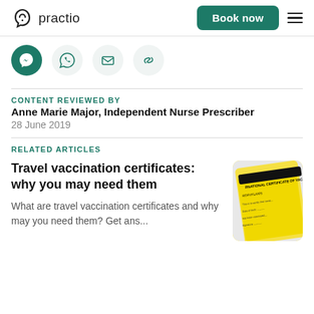practio | Book now
[Figure (other): Social sharing icons row: Messenger, WhatsApp, Email, Link]
CONTENT REVIEWED BY
Anne Marie Major, Independent Nurse Prescriber
28 June 2019
RELATED ARTICLES
Travel vaccination certificates: why you may need them
What are travel vaccination certificates and why may you need them? Get ans...
[Figure (photo): Photo of a yellow International Certificate of Vaccination or Prophylaxis booklet]